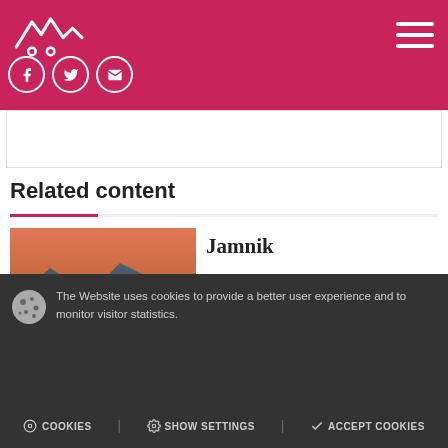Navigation header with logo, social icons, and hamburger menu
Related content
[Figure (photo): Landscape photo of Jamnik church on a hill at sunset with mountains in background]
Jamnik
Jamnik is one of the most photographed locations in Slovenia ...
[Figure (photo): Dark interior or cultural sights photo]
Sights
Natural and cultural sights of
The Website uses cookies to provide a better user experience and to monitor visitor statistics.
COOKIES | SHOW SETTINGS | ACCEPT COOKIES